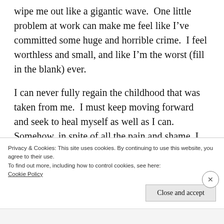wipe me out like a gigantic wave.  One little problem at work can make me feel like I've committed some huge and horrible crime.  I feel worthless and small, and like I'm the worst (fill in the blank) ever.
I can never fully regain the childhood that was taken from me.  I must keep moving forward and seek to heal myself as well as I can.  Somehow, in spite of all the pain and shame, I have forged ahead and created a
Privacy & Cookies: This site uses cookies. By continuing to use this website, you agree to their use.
To find out more, including how to control cookies, see here: Cookie Policy
Close and accept